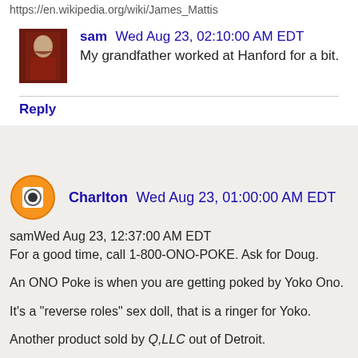https://en.wikipedia.org/wiki/James_Mattis
sam Wed Aug 23, 02:10:00 AM EDT
My grandfather worked at Hanford for a bit.
Reply
Charlton Wed Aug 23, 01:00:00 AM EDT
samWed Aug 23, 12:37:00 AM EDT
For a good time, call 1-800-ONO-POKE. Ask for Doug.

An ONO Poke is when you are getting poked by Yoko Ono.

It's a "reverse roles" sex doll, that is a ringer for Yoko.

Another product sold by Q,LLC out of Detroit.

I looked it up on his Web Page and the reviews of the product were all 5 STAR